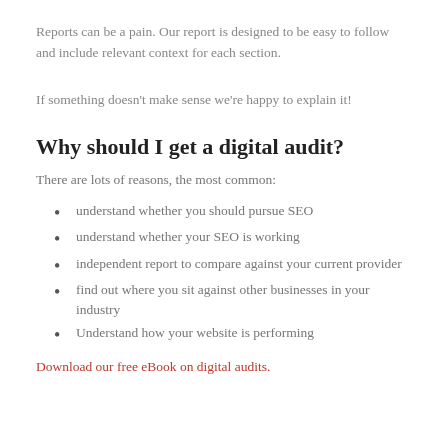Reports can be a pain. Our report is designed to be easy to follow and include relevant context for each section.
If something doesn't make sense we're happy to explain it!
Why should I get a digital audit?
There are lots of reasons, the most common:
understand whether you should pursue SEO
understand whether your SEO is working
independent report to compare against your current provider
find out where you sit against other businesses in your industry
Understand how your website is performing
Download our free eBook on digital audits.